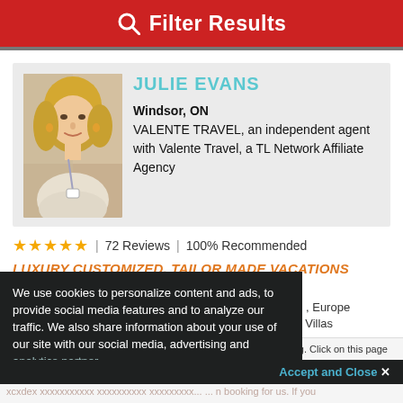Filter Results
[Figure (photo): Headshot photo of Julie Evans, a blonde woman smiling]
JULIE EVANS
Windsor, ON
VALENTE TRAVEL, an independent agent with Valente Travel, a TL Network Affiliate Agency
★★★★★ | 72 Reviews | 100% Recommended
LUXURY CUSTOMIZED, TAILOR MADE VACATIONS
DESTINATION SPECIALTIES
, Europe
r Cruises, Villas
We use cookies to personalize content and ads, to provide social media features and to analyze our traffic. We also share information about your use of our site with our social media, advertising and analytics partner...
Accept and Close ×
Your browser settings do not allow cross-site tracking for advertising. Click on this page to allow AdRoll to use cross-site tracking to tailor ads to you. Learn more or opt out of this AdRoll tracking by clicking here. This message only appears once.